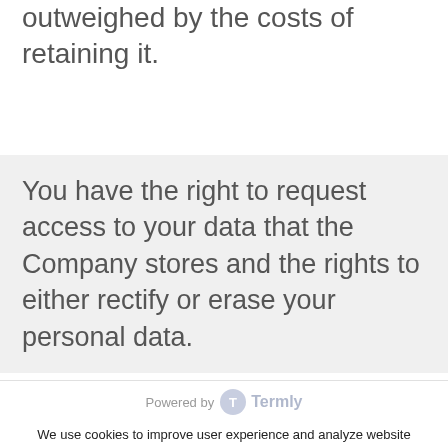outweighed by the costs of retaining it.
You have the right to request access to your data that the Company stores and the rights to either rectify or erase your personal data.
Powered by Termly
We use cookies to improve user experience and analyze website traffic. By clicking “Accept,” you agree to our website’s cookie use as described in our Cookie Policy. You can change your cookie settings at any time by clicking “Preferences.”